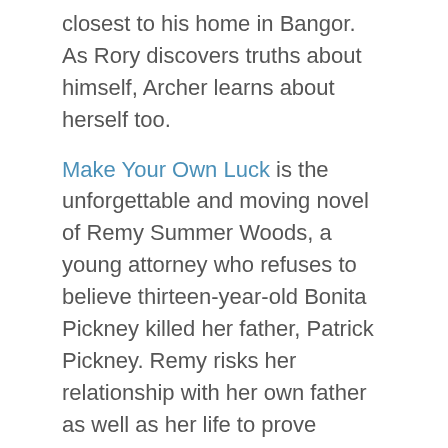closest to his home in Bangor. As Rory discovers truths about himself, Archer learns about herself too.
Make Your Own Luck is the unforgettable and moving novel of Remy Summer Woods, a young attorney who refuses to believe thirteen-year-old Bonita Pickney killed her father, Patrick Pickney. Remy risks her relationship with her own father as well as her life to prove Bonita's innocence. Along with learning what happened the night Patrick was murdered, Remy discovers hard truths about her family and herself.
Contact Joanne Lewis
[Figure (other): Pinterest and Goodreads social media icon buttons]
[Figure (other): Search input field with Search button]
June 2020 (1)